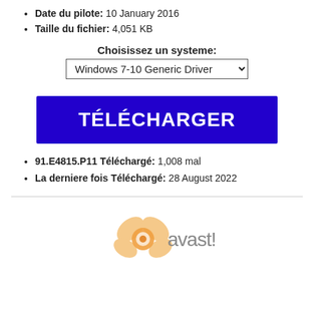Date du pilote: 10 January 2016
Taille du fichier: 4,051 KB
Choisissez un systeme:
Windows 7-10 Generic Driver
TÉLÉCHARGER
91.E4815.P11 Téléchargé: 1,008 mal
La derniere fois Téléchargé: 28 August 2022
[Figure (logo): Avast! antivirus logo with orange shield/butterfly icon and 'avast!' text in gray]